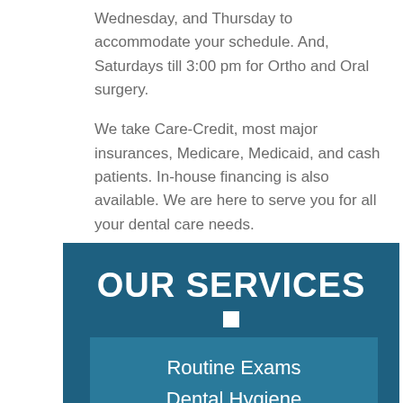Wednesday, and Thursday to accommodate your schedule. And, Saturdays till 3:00 pm for Ortho and Oral surgery.
We take Care-Credit, most major insurances, Medicare, Medicaid, and cash patients. In-house financing is also available. We are here to serve you for all your dental care needs.
OUR SERVICES
Routine Exams
Dental Hygiene